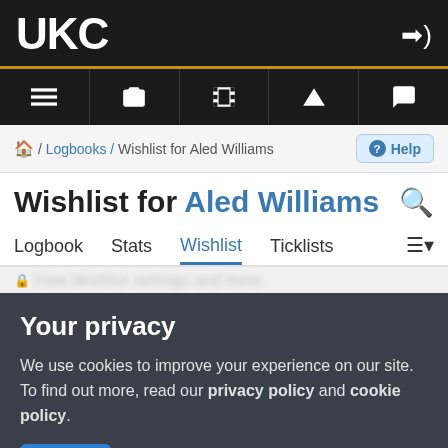UKC
[Figure (screenshot): Navigation icon bar with menu, camera, film, mountain, and chat icons]
🏠 / Logbooks / Wishlist for Aled Williams
Wishlist for Aled Williams
Logbook  Stats  Wishlist  Ticklists
Your privacy
We use cookies to improve your experience on our site. To find out more, read our privacy policy and cookie policy.
✓ OK   More information